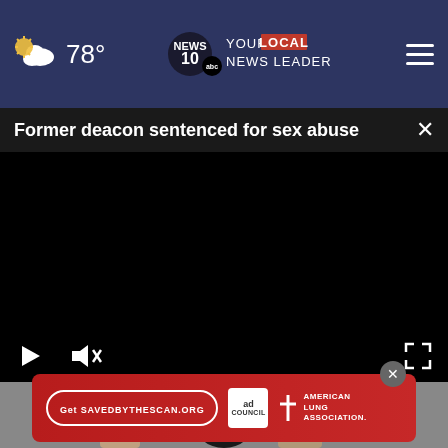78° NEWS 10 YOUR LOCAL NEWS LEADER
Former deacon sentenced for sex abuse
[Figure (screenshot): Black video player area with playback controls: play button, mute button, and fullscreen button]
[Figure (photo): Partial photo of a person visible below the video player]
[Figure (infographic): Red advertisement banner: Get SAVEDBYTHESCAN.ORG with Ad Council and American Lung Association logos]